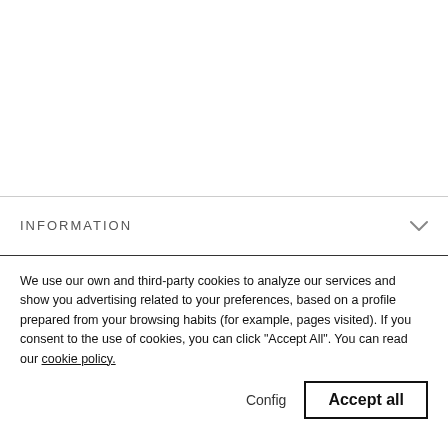INFORMATION
We use our own and third-party cookies to analyze our services and show you advertising related to your preferences, based on a profile prepared from your browsing habits (for example, pages visited). If you consent to the use of cookies, you can click "Accept All". You can read our cookie policy.
Config
Accept all